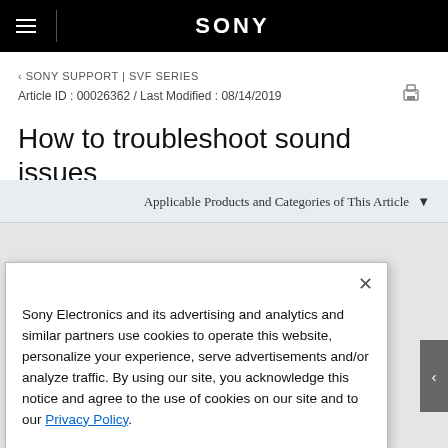SONY
‹ SONY SUPPORT | SVF SERIES
Article ID : 00026362 / Last Modified : 08/14/2019
How to troubleshoot sound issues
Applicable Products and Categories of This Article
Sony Electronics and its advertising and analytics and similar partners use cookies to operate this website, personalize your experience, serve advertisements and/or analyze traffic. By using our site, you acknowledge this notice and agree to the use of cookies on our site and to our Privacy Policy.